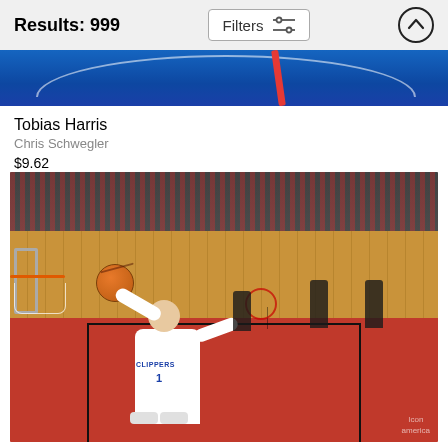Results: 999    Filters
[Figure (photo): Cropped top portion of a basketball photo showing blue court background with white arc and a red arm/sleeve visible]
Tobias Harris
Chris Schwegler
$9.62
[Figure (photo): NBA basketball game action photo: LA Clippers player #1 dunking at the rim in a packed arena, red court, wooden floor, crowd in background. Watermark: Icon Sportswire / america]